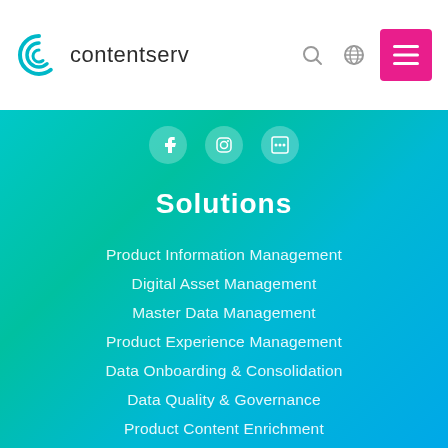[Figure (logo): Contentserv logo with teal spiral C icon and wordmark 'contentserv']
Solutions
Product Information Management
Digital Asset Management
Master Data Management
Product Experience Management
Data Onboarding & Consolidation
Data Quality & Governance
Product Content Enrichment
Content Personalization
Global Translation & Localization
Multichannel Publishing